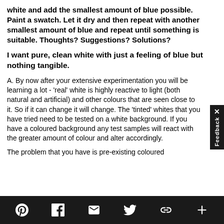white and add the smallest amount of blue possible. Paint a swatch. Let it dry and then repeat with another smallest amount of blue and repeat until something is suitable. Thoughts? Suggestions? Solutions?
I want pure, clean white with just a feeling of blue but nothing tangible.
A. By now after your extensive experimentation you will be learning a lot - 'real' white is highly reactive to light (both natural and artificial) and other colours that are seen close to it. So if it can change it will change. The 'tinted' whites that you have tried need to be tested on a white background. If you have a coloured background any test samples will react with the greater amount of colour and alter accordingly.
The problem that you have is pre-existing coloured
Pinterest Facebook Email Twitter Link +